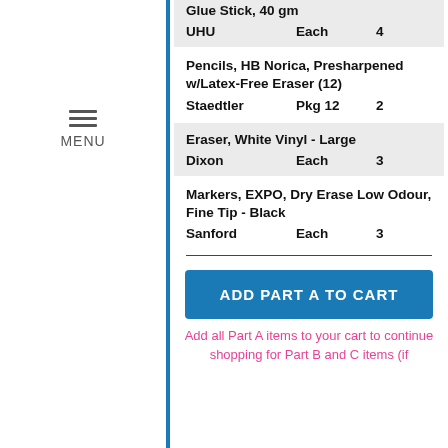Glue Stick, 40 gm
UHU  Each  4
Pencils, HB Norica, Presharpened w/Latex-Free Eraser (12)
Staedtler  Pkg 12  2
Eraser, White Vinyl - Large
Dixon  Each  3
Markers, EXPO, Dry Erase Low Odour, Fine Tip - Black
Sanford  Each  3
ADD PART A TO CART
Add all Part A items to your cart to continue shopping for Part B and C items (if